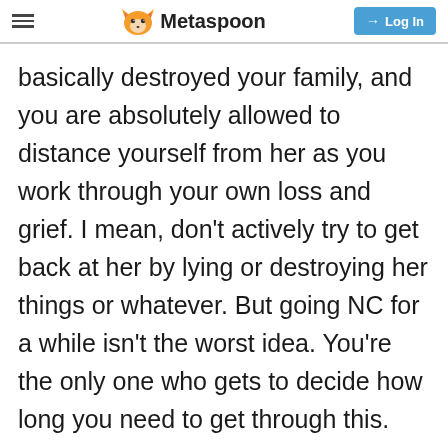Metaspoon | Log In
basically destroyed your family, and you are absolutely allowed to distance yourself from her as you work through your own loss and grief. I mean, don’t actively try to get back at her by lying or destroying her things or whatever. But going NC for a while isn’t the worst idea. You’re the only one who gets to decide how long you need to get through this.